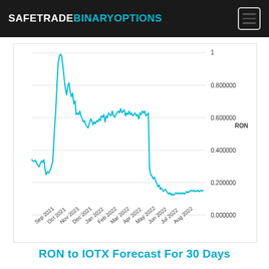SAFETRADE BINARYOPTIONS
[Figure (continuous-plot): Line chart showing RON to IOTX exchange rate from Sep 2021 to Aug 2022. The rate peaked near 1.0 in Nov-Dec 2021, then declined steeply, leveling off around 0.1-0.15 by mid-2022.]
RON to IOTX Forecast For 30 Days